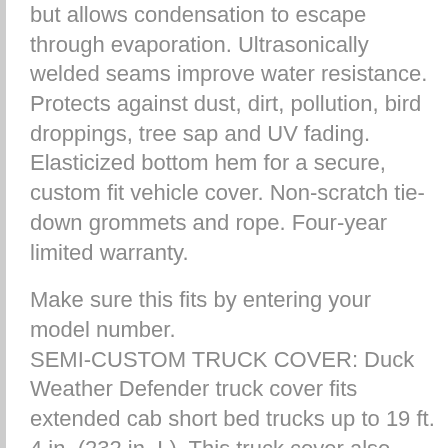but allows condensation to escape through evaporation. Ultrasonically welded seams improve water resistance. Protects against dust, dirt, pollution, bird droppings, tree sap and UV fading. Elasticized bottom hem for a secure, custom fit vehicle cover. Non-scratch tie-down grommets and rope. Four-year limited warranty.
Make sure this fits by entering your model number. SEMI-CUSTOM TRUCK COVER: Duck Weather Defender truck cover fits extended cab short bed trucks up to 19 ft. 4 in. (232 in. L). This truck cover also features an elastic hem for a secure, custom fit for your vehicle as well as non-scratch, tie-down grommets and rope DURABLE TRUCK COVER with WARRANTY: DuckWeather Defender Truck